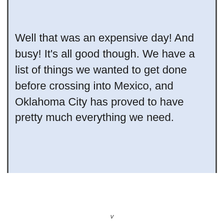Well that was an expensive day! And busy! It's all good though. We have a list of things we wanted to get done before crossing into Mexico, and Oklahoma City has proved to have pretty much everything we need.
v